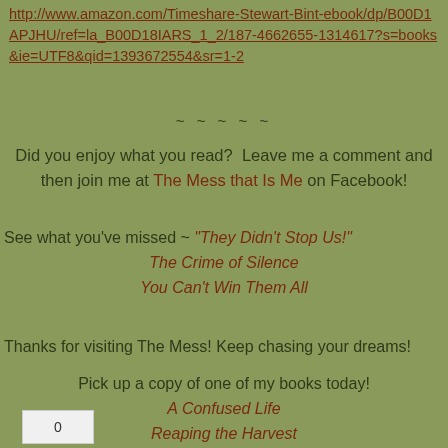http://www.amazon.com/Timeshare-Stewart-Bint-ebook/dp/B00D1APJHU/ref=la_B00D18IARS_1_2/187-4662655-1314617?s=books&ie=UTF8&qid=1393672554&sr=1-2
~ ~ ~ ~ ~
Did you enjoy what you read?  Leave me a comment and then join me at The Mess that Is Me on Facebook!
See what you've missed ~ "They Didn't Stop Us!"
The Crime of Silence
You Can't Win Them All
Thanks for visiting The Mess! Keep chasing your dreams!
Pick up a copy of one of my books today!
A Confused Life
Reaping the Harvest
Circle of Justice
0